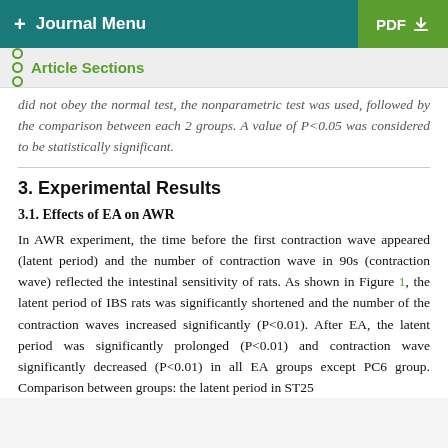+ Journal Menu   PDF ↓
Article Sections
did not obey the normal test, the nonparametric test was used, followed by the comparison between each 2 groups. A value of P<0.05 was considered to be statistically significant.
3. Experimental Results
3.1. Effects of EA on AWR
In AWR experiment, the time before the first contraction wave appeared (latent period) and the number of contraction wave in 90s (contraction wave) reflected the intestinal sensitivity of rats. As shown in Figure 1, the latent period of IBS rats was significantly shortened and the number of the contraction waves increased significantly (P<0.01). After EA, the latent period was significantly prolonged (P<0.01) and contraction wave significantly decreased (P<0.01) in all EA groups except PC6 group. Comparison between groups: the latent period in ST25